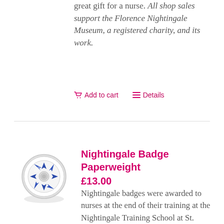great gift for a nurse. All shop sales support the Florence Nightingale Museum, a registered charity, and its work.
Add to cart   Details
Nightingale Badge Paperweight £13.00
[Figure (photo): Round paperweight with blue enamel Nightingale badge cross design on white background]
Nightingale badges were awarded to nurses at the end of their training at the Nightingale Training School at St. Thomas' Hospital from 1925-1992. The bright blue colour of the enamel